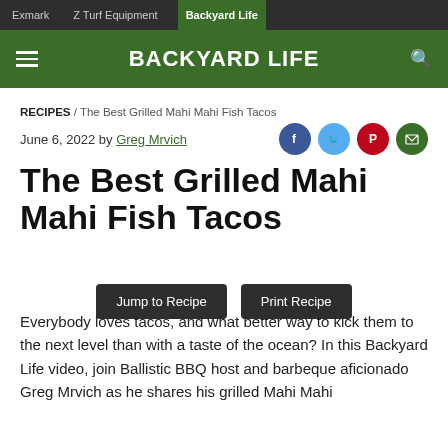Exmark | Z Turf Equipment | Backyard Life
BACKYARD LIFE
RECIPES / The Best Grilled Mahi Mahi Fish Tacos
June 6, 2022 by Greg Mrvich
The Best Grilled Mahi Mahi Fish Tacos
Jump to Recipe   Print Recipe
Everybody loves tacos, and what better way to kick them to the next level than with a taste of the ocean? In this Backyard Life video, join Ballistic BBQ host and barbeque aficionado Greg Mrvich as he shares his grilled Mahi Mahi